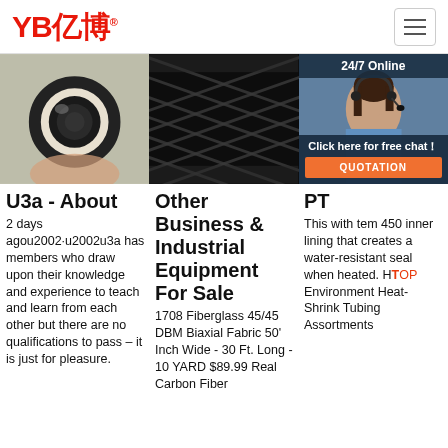[Figure (logo): YB亿博 logo in red with registered trademark symbol]
[Figure (photo): Three product images side by side: hose cross-section end view, black braided hydraulic hose, and customer service representative with headset on blue background with '24/7 Online' text. Overlaid chat popup with 'Click here for free chat!' and orange QUOTATION button.]
U3a - About
2 days agou2002·u2002u3a has members who draw upon their knowledge and experience to teach and learn from each other but there are no qualifications to pass – it is just for pleasure.
Other Business & Industrial Equipment For Sale
1708 Fiberglass 45/45 DBM Biaxial Fabric 50' Inch Wide - 30 Ft. Long - 10 YARD $89.99 Real Carbon Fiber
PT
This with tem 450 inner lining that creates a water-resistant seal when heated. H Environment Heat-Shrink Tubing Assortments